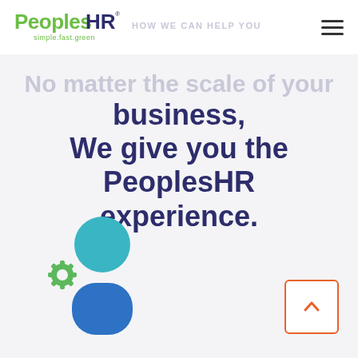[Figure (logo): PeoplesHR logo with tagline 'simple.fast.green']
HOW WE CAN HELP YOU
No matter the scale of your business, We give you the PeoplesHR experience.
[Figure (illustration): HR person icon with a green gear/settings cog, teal circle head and blue body silhouette]
[Figure (other): Scroll to top button with upward chevron arrow, orange border]